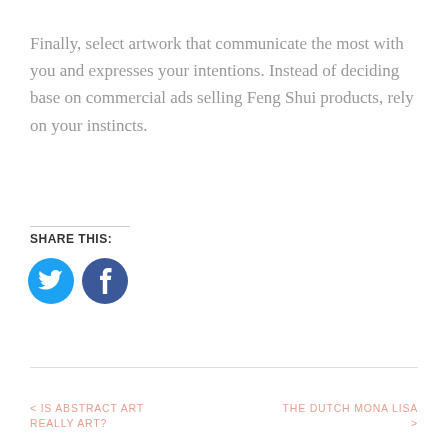Finally, select artwork that communicate the most with you and expresses your intentions. Instead of deciding base on commercial ads selling Feng Shui products, rely on your instincts.
SHARE THIS:
[Figure (other): Twitter and Facebook circular social share icons]
< IS ABSTRACT ART REALLY ART?   THE DUTCH MONA LISA >